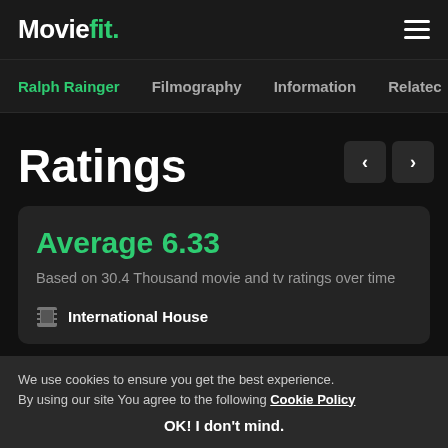Moviefit.
Ralph Rainger  Filmography  Information  Related
Ratings
Average 6.33
Based on 30.4 Thousand movie and tv ratings over time
International House
We use cookies to ensure you get the best experience. By using our site You agree to the following Cookie Policy
OK! I don't mind.